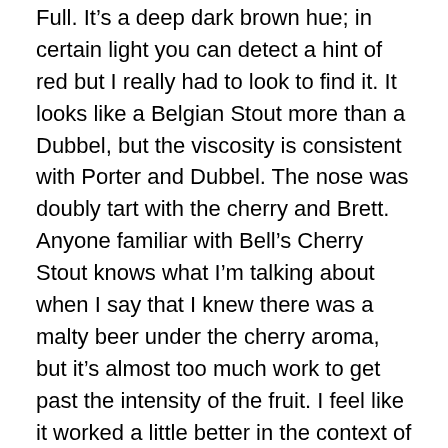Full. It's a deep dark brown hue; in certain light you can detect a hint of red but I really had to look to find it. It looks like a Belgian Stout more than a Dubbel, but the viscosity is consistent with Porter and Dubbel. The nose was doubly tart with the cherry and Brett. Anyone familiar with Bell's Cherry Stout knows what I'm talking about when I say that I knew there was a malty beer under the cherry aroma, but it's almost too much work to get past the intensity of the fruit. I feel like it worked a little better in the context of the Belgian beer; perhaps there's a familiarity we have with sour Lambic beers that makes it a little easier to handle such a sharp cherry smell. Either way, I couldn't glean much of the beer's character from the nose, so I dove in.
The palate is full-bodied and very smooth. It's a great balance of rich malty flavors and the tartness of the cherries. The sugars and Brett are used more for texture,